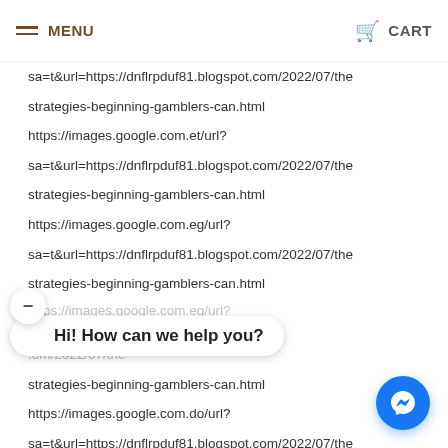MENU | CART
sa=t&url=https://dnflrpduf81.blogspot.com/2022/07/the
strategies-beginning-gamblers-can.html
https://images.google.com.et/url?
sa=t&url=https://dnflrpduf81.blogspot.com/2022/07/the
strategies-beginning-gamblers-can.html
https://images.google.com.eg/url?
sa=t&url=https://dnflrpduf81.blogspot.com/2022/07/the
strategies-beginning-gamblers-can.html
https://images.google.com.eg/url? (partial, cut off)
Hi! How can we help you?
.om/2022/07/the
strategies-beginning-gamblers-can.html
https://images.google.com.do/url?
sa=t&url=https://dnflrpduf81.blogspot.com/2022/07/the
strategies-beginning-gamblers-can.html
https://images.google.com.cy/url?